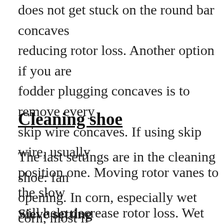does not get stuck on the round bar concaves reducing rotor loss. Another option if you are fodder plugging concaves is to remove every skip wire concaves. If using skip wire, usually position one. Moving rotor vanes to the slow will help decrease rotor loss. Wet corn can be easily during threshing.
Cleaning shoe
The last settings are in the cleaning shoe: fan opening. In corn, especially wet corn, most if and cleaning should take place on the top sie
Sieve setting